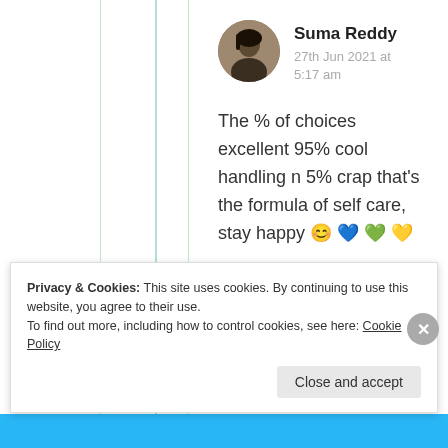Suma Reddy
27th Jun 2021 at 5:17 am
The % of choices excellent 95% cool handling n 5% crap that's the formula of self care, stay happy 😊 💙 💚 💛
Privacy & Cookies: This site uses cookies. By continuing to use this website, you agree to their use.
To find out more, including how to control cookies, see here: Cookie Policy
Close and accept